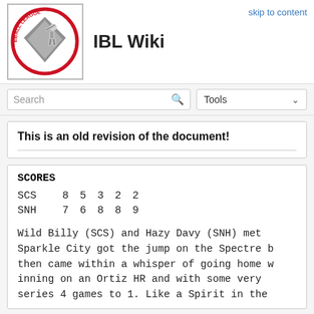IBL Wiki
skip to content
Search  Tools
This is an old revision of the document!
|  | 1 | 2 | 3 | 4 | 5 |
| --- | --- | --- | --- | --- | --- |
| SCS | 8 | 5 | 3 | 2 | 2 |
| SNH | 7 | 6 | 8 | 8 | 9 |
Wild Billy (SCS) and Hazy Davy (SNH) met . Sparkle City got the jump on the Spectre b then came within a whisper of going home w inning on an Ortiz HR and with some very series 4 games to 1. Like a Spirit in the